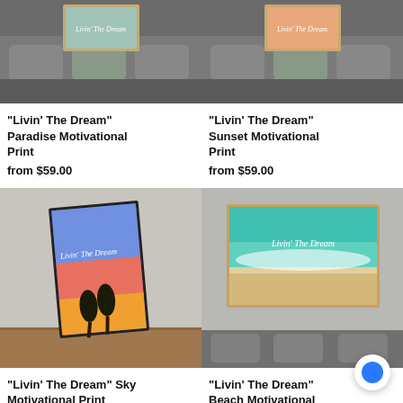[Figure (photo): Canvas print of 'Livin The Dream' Paradise motivational art hung above a grey sofa — top-left product image]
[Figure (photo): Canvas print of 'Livin The Dream' Sunset motivational art hung above a grey sofa — top-right product image]
"Livin' The Dream" Paradise Motivational Print
from $59.00
"Livin' The Dream" Sunset Motivational Print
from $59.00
[Figure (photo): Canvas print of 'Livin The Dream' Sky motivational art with palm trees and colorful sunset sky, leaning against a concrete wall on a wooden floor]
[Figure (photo): Canvas print of 'Livin The Dream' Beach motivational art with teal ocean wave and sandy beach, hung on a grey wall above a sofa]
"Livin' The Dream" Sky Motivational Print
"Livin' The Dream" Beach Motivational